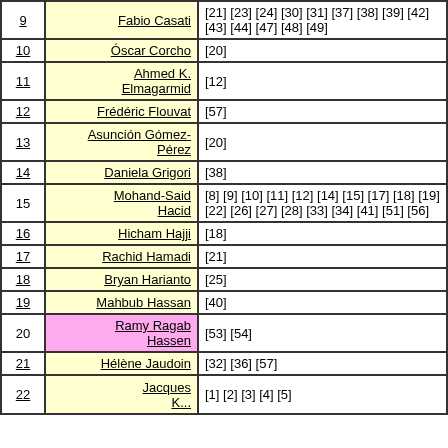| # | Name | References |
| --- | --- | --- |
| 9 | Fabio Casati | [21] [23] [24] [30] [31] [37] [38] [39] [42] [43] [44] [47] [48] [49] |
| 10 | Óscar Corcho | [20] |
| 11 | Ahmed K. Elmagarmid | [12] |
| 12 | Frédéric Flouvat | [57] |
| 13 | Asunción Gómez-Pérez | [20] |
| 14 | Daniela Grigori | [38] |
| 15 | Mohand-Said Hacid | [8] [9] [10] [11] [12] [14] [15] [17] [18] [19] [22] [26] [27] [28] [33] [34] [41] [51] [56] |
| 16 | Hicham Hajji | [18] |
| 17 | Rachid Hamadi | [21] |
| 18 | Bryan Harianto | [25] |
| 19 | Mahbub Hassan | [40] |
| 20 | Ramy Ragab Hassen | [53] [54] |
| 21 | Hélène Jaudoin | [32] [36] [57] |
| 22 | Jacques K... | [1] [2] [3] [4] [5] |